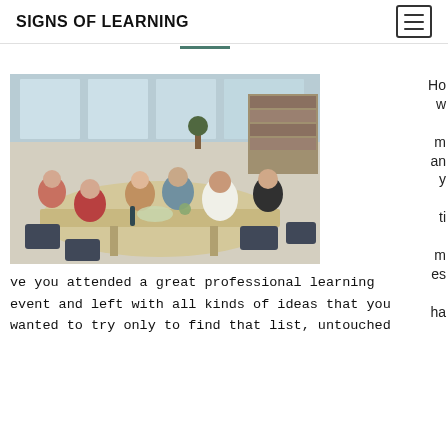SIGNS OF LEARNING
[Figure (photo): Group of people seated around a large table in a classroom setting, engaged in discussion. Bookshelves and windows visible in the background.]
How many times have you attended a great professional learning event and left with all kinds of ideas that you wanted to try only to find that list, untouched